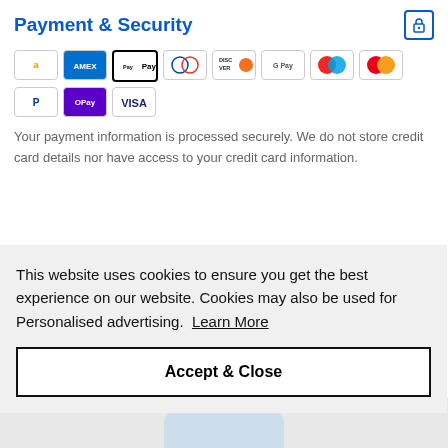Payment & Security
[Figure (infographic): Row of payment method logos: Amazon Pay, Amex, Apple Pay, Diners Club, Discover, Google Pay, Maestro, Mastercard, PayPal, OPay, Visa]
Your payment information is processed securely. We do not store credit card details nor have access to your credit card information.
This website uses cookies to ensure you get the best experience on our website. Cookies may also be used for Personalised advertising.  Learn More
Accept & Close